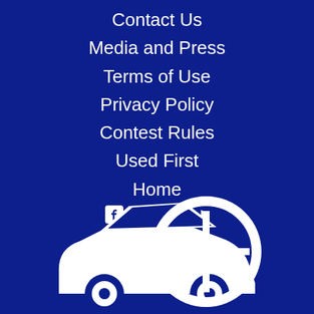Contact Us
Media and Press
Terms of Use
Privacy Policy
Contest Rules
Used First
Home
Facebook
Twitter
Instagram
[Figure (logo): White car with steering wheel icon on dark blue background]